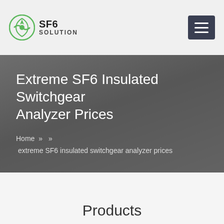SF6 SOLUTION
Extreme SF6 Insulated Switchgear Analyzer Prices
Home » » extreme SF6 insulated switchgear analyzer prices
Products